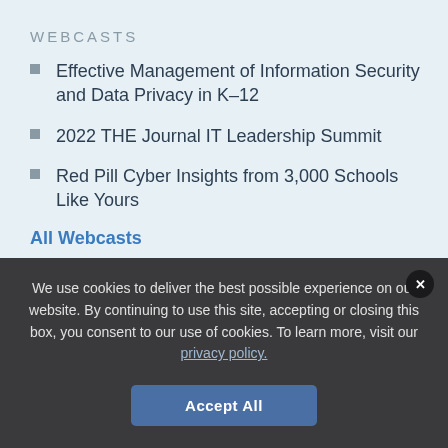WEBCASTS
Effective Management of Information Security and Data Privacy in K–12
2022 THE Journal IT Leadership Summit
Red Pill Cyber Insights from 3,000 Schools Like Yours
All Webcasts
WHITEPAPERS
We use cookies to deliver the best possible experience on our website. By continuing to use this site, accepting or closing this box, you consent to our use of cookies. To learn more, visit our privacy policy.
Accept All